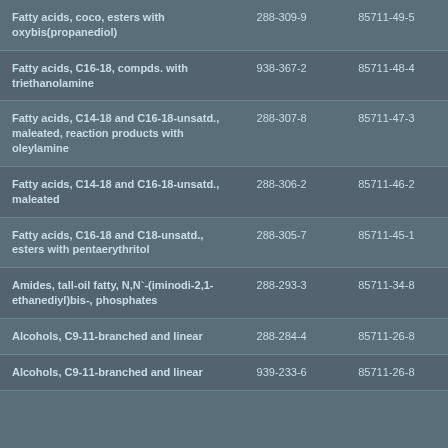| Fatty acids, coco, esters with oxybis(propanediol) | 288-309-9 | 85711-49-5 |
| Fatty acids, C16-18, compds. with triethanolamine | 938-367-2 | 85711-48-4 |
| Fatty acids, C14-18 and C16-18-unsatd., maleated, reaction products with oleylamine | 288-307-8 | 85711-47-3 |
| Fatty acids, C14-18 and C16-18-unsatd., maleated | 288-306-2 | 85711-46-2 |
| Fatty acids, C16-18 and C18-unsatd., esters with pentaerythritol | 288-305-7 | 85711-45-1 |
| Amides, tall-oil fatty, N,N`-(iminodi-2,1-ethanediyl)bis-, phosphates | 288-293-3 | 85711-34-8 |
| Alcohols, C9-11-branched and linear | 288-284-4 | 85711-26-8 |
| Alcohols, C9-11-branched and linear | 939-233-6 | 85711-26-8 |